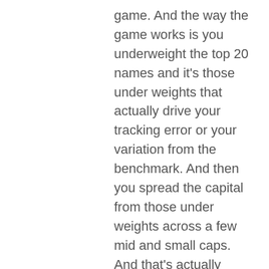game. And the way the game works is you underweight the top 20 names and it's those under weights that actually drive your tracking error or your variation from the benchmark. And then you spread the capital from those under weights across a few mid and small caps. And that's actually where you generate your out performance. Daniel Grioli: The problem is when you put four or five managers together doing that, you get mud. And the reason why I call it mud is, it's like when you're in kindergarten and you start painting and you put a bit of yellow on the canvas and then you put a bit of blue on top of the yellow and it goes to green and you think this is great. I can mix colors. If I put red on top of blue, I get purple. But